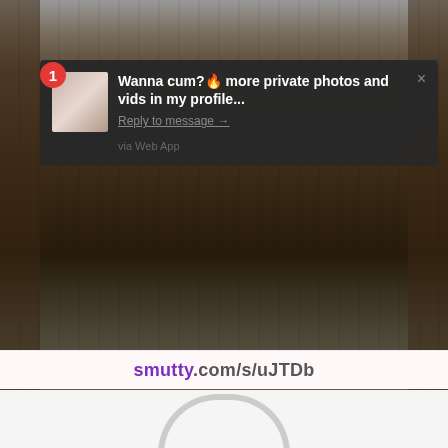[Figure (screenshot): Screenshot of a mobile notification overlay on top of a photo of a person's legs in high heels standing on a stool in a library. The notification reads: 'Wanna cum? more private photos and vids in my profile... Reply to message → via Web App'. A red badge with number 1 appears in the top-left. Below the image is a smutty.com URL bar.]
smutty.com/s/uJTDb